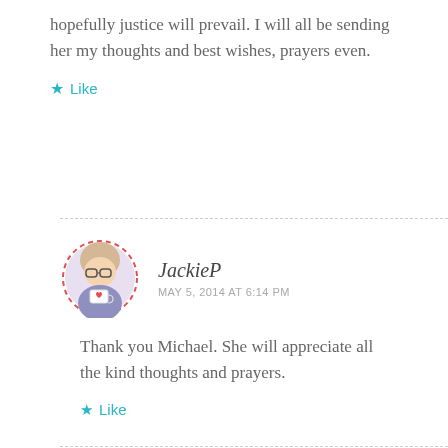hopefully justice will prevail. I will all be sending her my thoughts and best wishes, prayers even.
Like
JackieP
MAY 5, 2014 AT 6:14 PM
Thank you Michael. She will appreciate all the kind thoughts and prayers.
Like